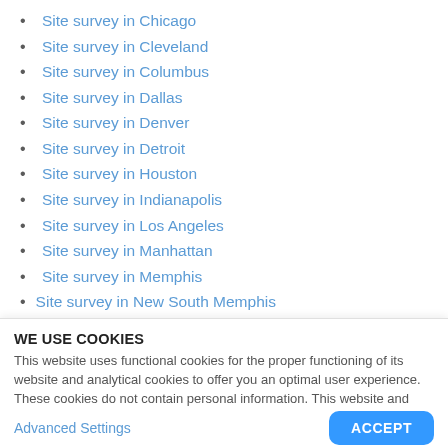Site survey in Chicago
Site survey in Cleveland
Site survey in Columbus
Site survey in Dallas
Site survey in Denver
Site survey in Detroit
Site survey in Houston
Site survey in Indianapolis
Site survey in Los Angeles
Site survey in Manhattan
Site survey in Memphis
Site survey in New South Memphis
WE USE COOKIES
This website uses functional cookies for the proper functioning of its website and analytical cookies to offer you an optimal user experience. These cookies do not contain personal information. This website and third parties use cookies for marketing and to ensure that you see relevant advertisements without telling advertisers who
Advanced Settings
ACCEPT